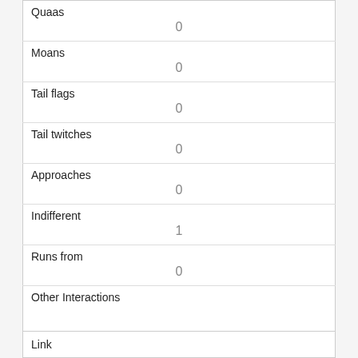| Quaas | 0 |
| Moans | 0 |
| Tail flags | 0 |
| Tail twitches | 0 |
| Approaches | 0 |
| Indifferent | 1 |
| Runs from | 0 |
| Other Interactions |  |
| Lat/Long | POINT (-73.9711120079542 40.7760801911766) |
| Link |  |